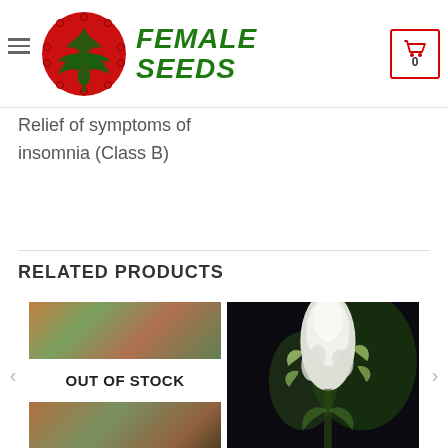Female Seeds — Logo header with hamburger menu and cart (0 items)
management (…
lief of sym…
Crohn's disea… and
Ulcerosa (Class A)
Relief of symptoms of insomnia (Class B)
RELATED PRODUCTS
[Figure (photo): Cannabis bud product photo with OUT OF STOCK overlay]
[Figure (photo): White cannabis plant (frosted buds) against dark background]